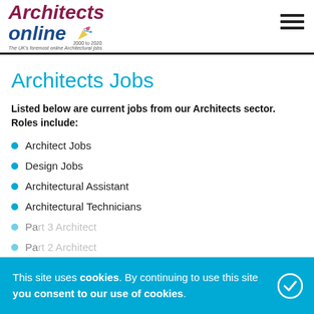Architects online — The UK's foremost online Architectural jobs
Architects Jobs
Listed below are current jobs from our Architects sector. Roles include:
Architect Jobs
Design Jobs
Architectural Assistant
Architectural Technicians
Part 3 Architect
Part 2 Architect
Newly Qualified Architects
This site uses cookies. By continuing to use this site you consent to our use of cookies.